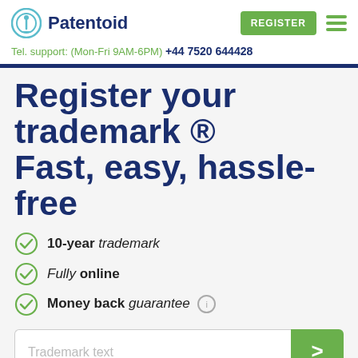Patentoid | Tel. support: (Mon-Fri 9AM-6PM) +44 7520 644428
Register your trademark ® Fast, easy, hassle-free
10-year trademark
Fully online
Money back guarantee
Trademark text